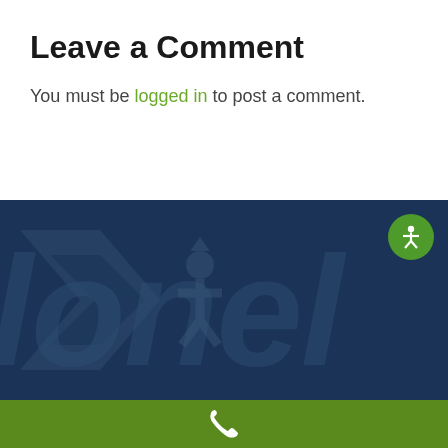Leave a Comment
You must be logged in to post a comment.
[Figure (logo): Dark navy background with a large watermark-style company logo text reading 'lonel' (partial, Lionel brand) with a chevron/arrow shape and a figure icon in the center. An accessibility icon (person with arms out) in a green circle appears in the top right corner.]
[Figure (other): Green horizontal bar at the bottom with a white telephone/phone icon centered on it.]